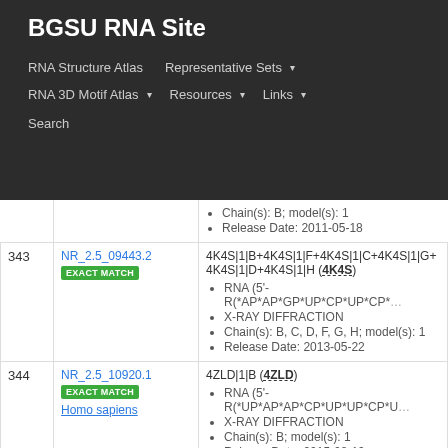BGSU RNA Site
RNA Structure Atlas | Representative Sets | RNA 3D Motif Atlas | Resources | Links | Search
| # | ID | Details |
| --- | --- | --- |
|  |  | Chain(s): B; model(s): 1
Release Date: 2011-05-18 |
| 343 | NR_2.5_09443.2
EXACT MATCH | 4K4S|1|B+4K4S|1|F+4K4S|1|C+4K4S|1|G+4K4S|1|D+4K4S|1|H (4K4S)
• RNA (5'-R(*AP*AP*GP*UP*CP*UP*CP*...
• X-RAY DIFFRACTION
• Chain(s): B, C, D, F, G, H; model(s): 1
• Release Date: 2013-05-22 |
| 344 | NR_2.5_10920.1
EXACT MATCH
Homo sapiens | 4ZLD|1|B (4ZLD)
• RNA (5'-R(*UP*AP*AP*CP*UP*UP*CP*U...
• X-RAY DIFFRACTION
• Chain(s): B; model(s): 1
• Release Date: 2015-08-19 |